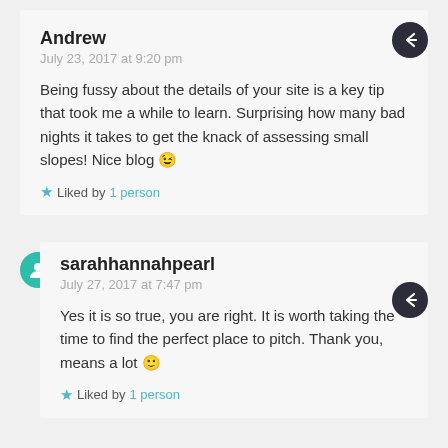Andrew
July 23, 2017 at 9:20 pm
Being fussy about the details of your site is a key tip that took me a while to learn. Surprising how many bad nights it takes to get the knack of assessing small slopes! Nice blog 😉
★ Liked by 1 person
sarahhannahpearl
July 27, 2017 at 7:47 pm
Yes it is so true, you are right. It is worth taking the time to find the perfect place to pitch. Thank you, means a lot 🙂
★ Liked by 1 person